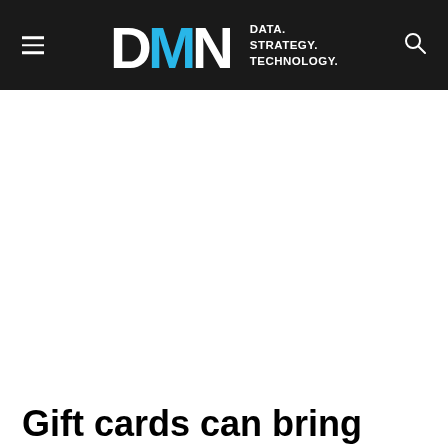DMN DATA. STRATEGY. TECHNOLOGY.
Gift cards can bring